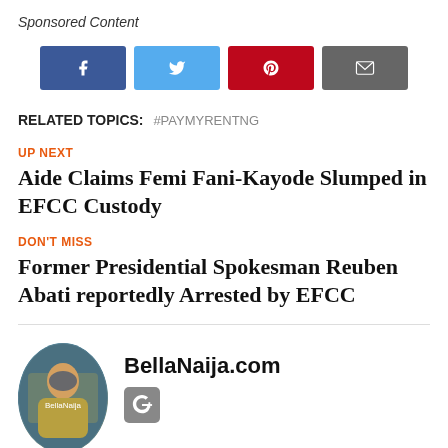Sponsored Content
[Figure (other): Social share buttons: Facebook (blue), Twitter (light blue), Pinterest (dark red), Email (grey)]
RELATED TOPICS: #PAYMYRENTNG
UP NEXT
Aide Claims Femi Fani-Kayode Slumped in EFCC Custody
DON'T MISS
Former Presidential Spokesman Reuben Abati reportedly Arrested by EFCC
[Figure (photo): Circular avatar image for BellaNaija.com author, showing decorative/cultural imagery]
BellaNaija.com
[Figure (logo): Google+ icon button]
Living & Celebrating the African Dream! Catch all the